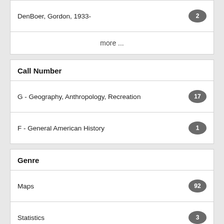DenBoer, Gordon, 1933-
more ...
Call Number
G - Geography, Anthropology, Recreation
F - General American History
Genre
Maps
Statistics
Statistics, Vital
Atlases
Early works